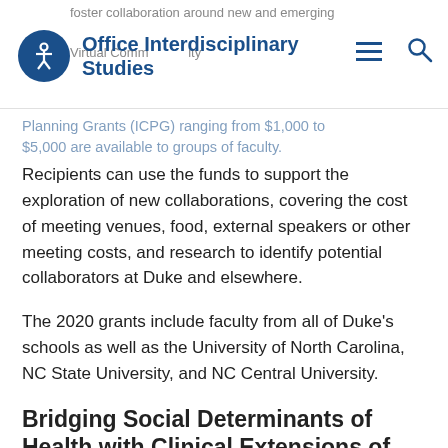Office of Interdisciplinary Studies
foster collaboration around new and emerging … Virtual Community Planning Grants (ICPG) ranging from $1,000 to $5,000 are available to groups of faculty.
Recipients can use the funds to support the exploration of new collaborations, covering the cost of meeting venues, food, external speakers or other meeting costs, and research to identify potential collaborators at Duke and elsewhere.
The 2020 grants include faculty from all of Duke's schools as well as the University of North Carolina, NC State University, and NC Central University.
Bridging Social Determinants of Health with Clinical Extensions of Care for Vulnerable Populations